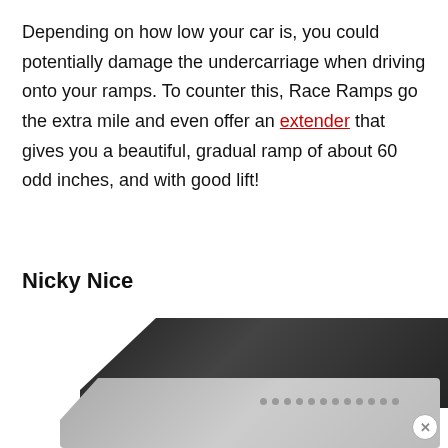Depending on how low your car is, you could potentially damage the undercarriage when driving onto your ramps. To counter this, Race Ramps go the extra mile and even offer an extender that gives you a beautiful, gradual ramp of about 60 odd inches, and with good lift!
Nicky Nice
[Figure (photo): Photo of a black car ramp (top) and a white/light-colored car ramp with holes (bottom), partially visible at the bottom of the page.]